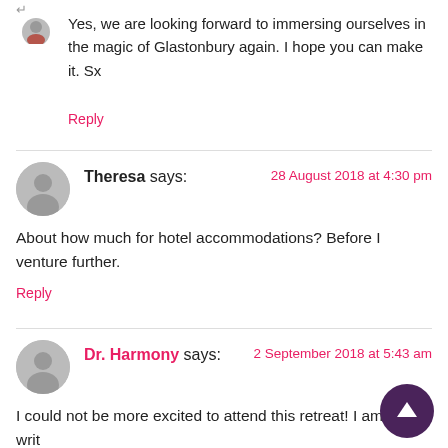[Figure (photo): Small circular avatar of a person in red clothing at top left]
Yes, we are looking forward to immersing ourselves in the magic of Glastonbury again. I hope you can make it. Sx
Reply
[Figure (illustration): Generic grey user avatar circle icon for Theresa]
Theresa says:
28 August 2018 at 4:30 pm
About how much for hotel accommodations? Before I venture further.
Reply
[Figure (illustration): Generic grey user avatar circle icon for Dr. Harmony]
Dr. Harmony says:
2 September 2018 at 5:43 am
I could not be more excited to attend this retreat! I am writ... entire book on the restoration of Avalon and this could not be